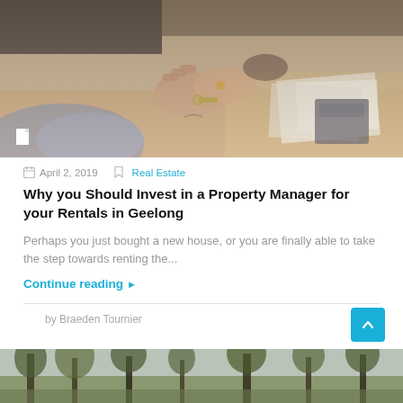[Figure (photo): Two people shaking hands over a desk with documents and a calculator, one person handing over keys.]
April 2, 2019   Real Estate
Why you Should Invest in a Property Manager for your Rentals in Geelong
Perhaps you just bought a new house, or you are finally able to take the step towards renting the...
Continue reading ▶
by Braeden Tournier
[Figure (photo): Trees and foliage outdoor scene, partially visible at bottom of page.]